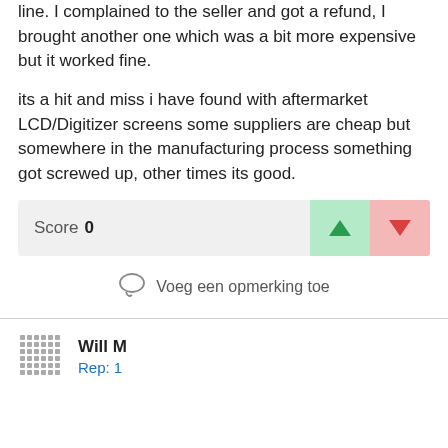line. I complained to the seller and got a refund, I brought another one which was a bit more expensive but it worked fine.
its a hit and miss i have found with aftermarket LCD/Digitizer screens some suppliers are cheap but somewhere in the manufacturing process something got screwed up, other times its good.
Score 0
Voeg een opmerking toe
Will M
Rep: 1